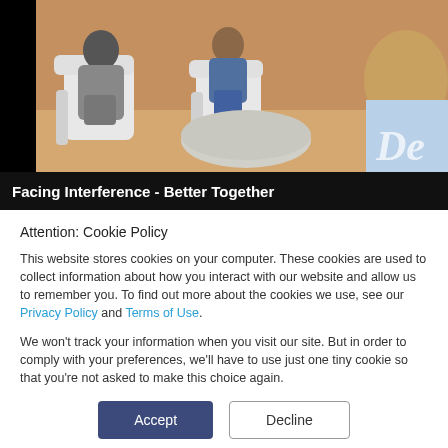[Figure (photo): Video thumbnail showing people seated in white chairs around a round table in a talk-show style setting. Text overlay 'De' visible in bottom right corner.]
Facing Interference - Better Together
Attention: Cookie Policy
This website stores cookies on your computer. These cookies are used to collect information about how you interact with our website and allow us to remember you. To find out more about the cookies we use, see our Privacy Policy and Terms of Use.
We won't track your information when you visit our site. But in order to comply with your preferences, we'll have to use just one tiny cookie so that you're not asked to make this choice again.